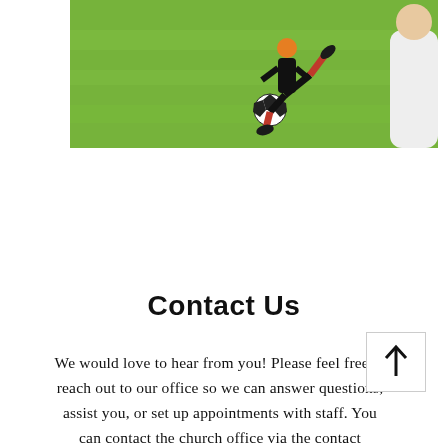[Figure (photo): Soccer/football player in black uniform with red socks kicking a ball on a green grass field, with another player partially visible on the right edge]
Contact Us
We would love to hear from you! Please feel free to reach out to our office so we can answer questions, assist you, or set up appointments with staff. You can contact the church office via the contact